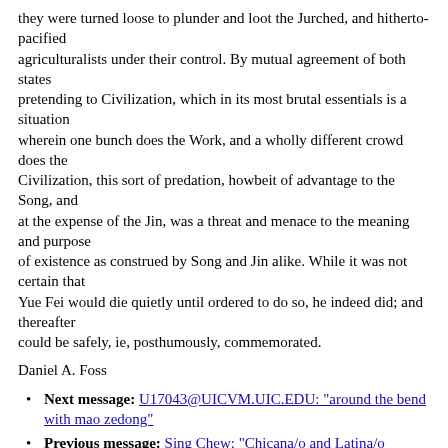they were turned loose to plunder and loot the Jurched, and hitherto-pacified agriculturalists under their control. By mutual agreement of both states pretending to Civilization, which in its most brutal essentials is a situation wherein one bunch does the Work, and a wholly different crowd does the Civilization, this sort of predation, howbeit of advantage to the Song, and at the expense of the Jin, was a threat and menace to the meaning and purpose of existence as construed by Song and Jin alike. While it was not certain that Yue Fei would die quietly until ordered to do so, he indeed did; and thereafter could be safely, ie, posthumously, commemorated.
Daniel A. Foss
Next message: U17043@UICVM.UIC.EDU: "around the bend with mao zedong"
Previous message: Sing Chew: "Chicana/o and Latina/o Workers"